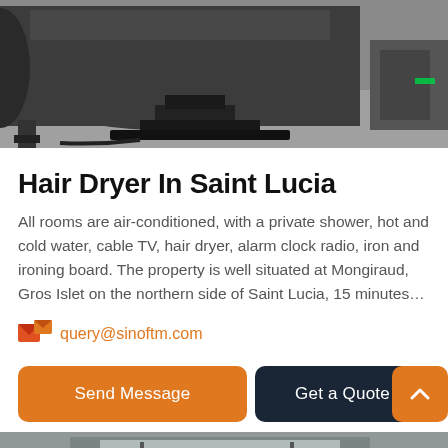[Figure (photo): Industrial equipment photo showing a large dark cylindrical drum or rotary kiln resting on metal supports on a factory floor, partially cropped at top]
Hair Dryer In Saint Lucia
All rooms are air-conditioned, with a private shower, hot and cold water, cable TV, hair dryer, alarm clock radio, iron and ironing board. The property is well situated at Mongiraud, Gros Islet on the northern side of Saint Lucia, 15 minutes…
query@sinoftm.com
Send Message
Get a Quote
[Figure (photo): Bottom partial photo showing industrial equipment, partially cropped]